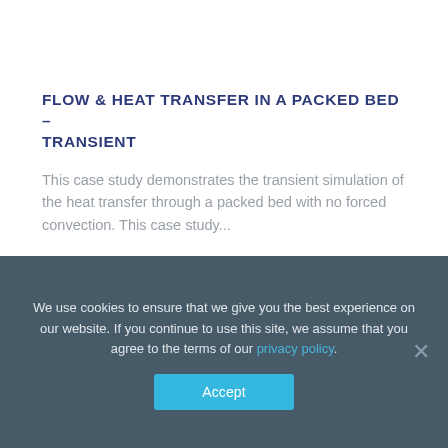FLOW & HEAT TRANSFER IN A PACKED BED – TRANSIENT
This case study demonstrates the transient simulation of the heat transfer through a packed bed with no forced convection. This case study...
READ MORE »
We use cookies to ensure that we give you the best experience on our website. If you continue to use this site, we assume that you agree to the terms of our privacy policy.